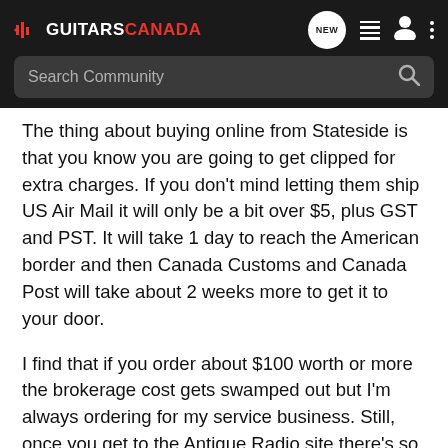GUITARS CANADA — Search Community
The thing about buying online from Stateside is that you know you are going to get clipped for extra charges. If you don't mind letting them ship US Air Mail it will only be a bit over $5, plus GST and PST. It will take 1 day to reach the American border and then Canada Customs and Canada Post will take about 2 weeks more to get it to your door.
I find that if you order about $100 worth or more the brokerage cost gets swamped out but I'm always ordering for my service business. Still, once you get to the Antique Radio site there's so much there not just in parts but in guitar parts, footswitches, and lots of other stuff that it's easy to spend a yard.
Maybe someone else has a Canadian source close to you. Not saying there isn't one, just damn glad it's you spending time